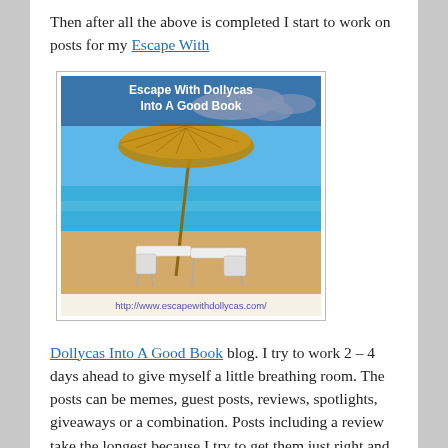Then after all the above is completed I start to work on posts for my Escape With
[Figure (photo): Beach scene image with lounge chairs under a thatched umbrella, with text 'Escape With Dollycas Into A Good Book' and URL http://www.escapewithdollycas.com/]
Dollycas Into A Good Book blog. I try to work 2 – 4 days ahead to give myself a little breathing room. The posts can be memes, guest posts, reviews, spotlights, giveaways or a combination. Posts including a review take the longest because I try to get them just right and include all the facts I can without any spoilers.
When that is complete, I send out final tweets of the day for all the tours that are running or starting soon. I do a final check of my emails and check on personal and family